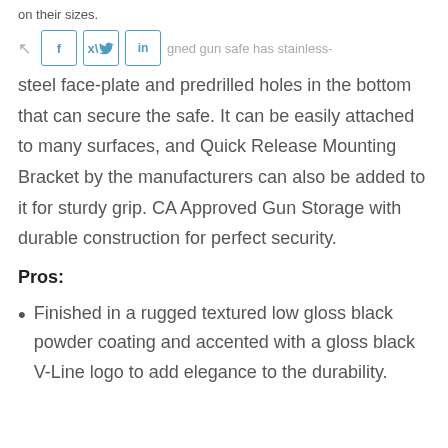on their sizes.
[Figure (other): Social share buttons: share icon, Facebook (f), Twitter (bird), LinkedIn (in)]
This specially designed gun safe has stainless-steel face-plate and predrilled holes in the bottom that can secure the safe. It can be easily attached to many surfaces, and Quick Release Mounting Bracket by the manufacturers can also be added to it for sturdy grip. CA Approved Gun Storage with durable construction for perfect security.
Pros:
Finished in a rugged textured low gloss black powder coating and accented with a gloss black V-Line logo to add elegance to the durability.